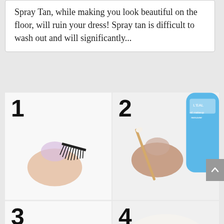Spray Tan, while making you look beautiful on the floor, will ruin your dress! Spray tan is difficult to wash out and will significantly...
[Figure (photo): Step 1: Close-up of a fingernail holding a small false eyelash strip on a white background]
[Figure (photo): Step 2: Hand holding a cotton swab near a blue L'oreal makeup remover bottle]
[Figure (photo): Step 3: False eyelash being cleaned with a cotton swab on white background]
[Figure (photo): Step 4: Cleaned false eyelash pair laid out with makeup residue on cotton pad below]